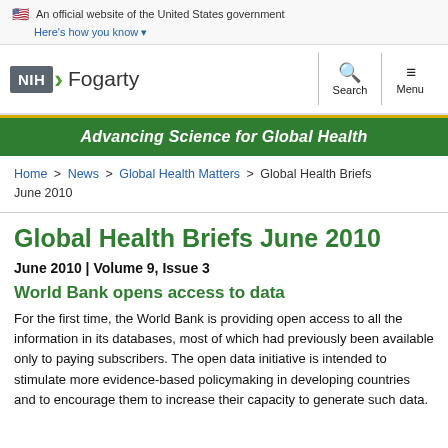🇺🇸 An official website of the United States government Here's how you know ▾
[Figure (logo): NIH Fogarty International Center logo with search and menu icons]
Advancing Science for Global Health
Home > News > Global Health Matters > Global Health Briefs June 2010
Global Health Briefs June 2010
June 2010 | Volume 9, Issue 3
World Bank opens access to data
For the first time, the World Bank is providing open access to all the information in its databases, most of which had previously been available only to paying subscribers. The open data initiative is intended to stimulate more evidence-based policymaking in developing countries and to encourage them to increase their capacity to generate such data.